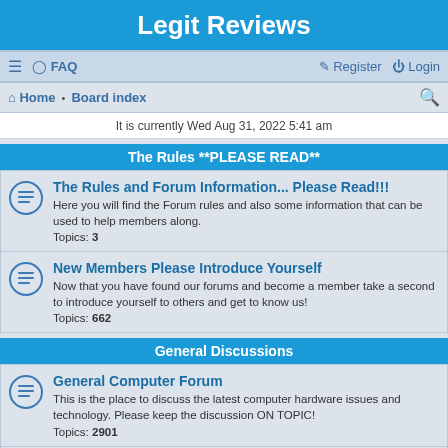Legit Reviews
≡  FAQ    Register  Login
Home · Board index
It is currently Wed Aug 31, 2022 5:41 am
The Rules **PLEASE READ**
The Rules and Forum Information... Please Read!!!
Here you will find the Forum rules and also some information that can be used to help members along.
Topics: 3
New Members Please Introduce Yourself
Now that you have found our forums and become a member take a second to introduce yourself to others and get to know us!
Topics: 662
General Discussions
General Computer Forum
This is the place to discuss the latest computer hardware issues and technology. Please keep the discussion ON TOPIC!
Topics: 2901
Legit Reviews Review Forum
A place to give your thoughts on our reviews!
Topics: 2850